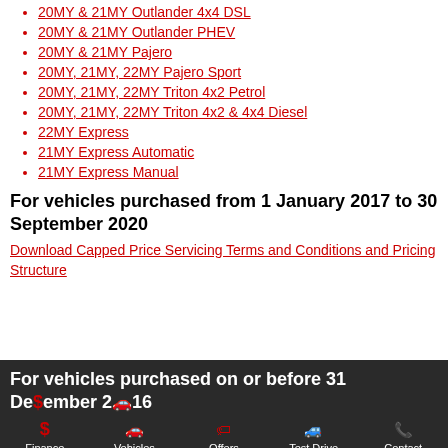20MY & 21MY Outlander 4x4 DSL
20MY & 21MY Outlander PHEV
20MY & 21MY Pajero
20MY, 21MY, 22MY Pajero Sport
20MY, 21MY, 22MY Triton 4x2 Petrol
20MY, 21MY, 22MY Triton 4x2 & 4x4 Diesel
22MY Express
21MY Express Automatic
21MY Express Manual
For vehicles purchased from 1 January 2017 to 30 September 2020
Download Capped Price Servicing Terms and Conditions and Pricing Structure
For vehicles purchased on or before 31 December 2016
Download Capped Price Servicing Terms and Conditions
Finance | Vehicles | Offers | Test Drive | Contact